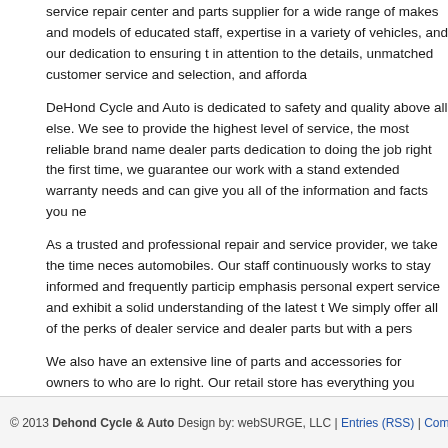service repair center and parts supplier for a wide range of makes and models of educated staff, expertise in a variety of vehicles, and our dedication to ensuring t in attention to the details, unmatched customer service and selection, and afforda
DeHond Cycle and Auto is dedicated to safety and quality above all else. We see to provide the highest level of service, the most reliable brand name dealer parts dedication to doing the job right the first time, we guarantee our work with a stand extended warranty needs and can give you all of the information and facts you ne
As a trusted and professional repair and service provider, we take the time neces automobiles. Our staff continuously works to stay informed and frequently particip emphasis personal expert service and exhibit a solid understanding of the latest t We simply offer all of the perks of dealer service and dealer parts but with a pers
We also have an extensive line of parts and accessories for owners to who are lo right. Our retail store has everything you need, with the added benefit of a profes need, but do not see, we can order those for you.
Whether you need a tune up, regular maintenance service performed, New York DeHond Cycle and Auto handle all of your needs.
© 2013 Dehond Cycle & Auto Design by: webSURGE, LLC | Entries (RSS) | Comments (R